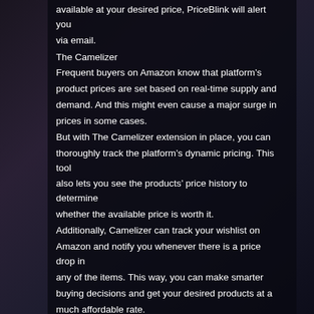available at your desired price, PriceBlink will alert you via email.
The Camelizer
Frequent buyers on Amazon know that platform’s product prices are set based on real-time supply and demand. And this might even cause a major surge in prices in some cases.
But with The Camelizer extension in place, you can thoroughly track the platform’s dynamic pricing. This tool also lets you see the products’ price history to determine whether the available price is worth it.
Additionally, Camelizer can track your wishlist on Amazon and notify you whenever there is a price drop in any of the items. This way, you can make smarter buying decisions and get your desired products at a much affordable rate.
Capital One Shopping
This web extension utilizes real-time information from its large user base and helps find incredible deals. As its